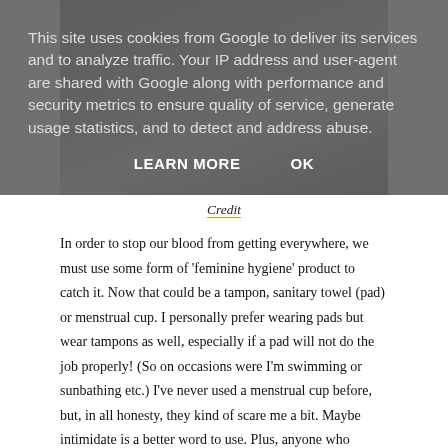This site uses cookies from Google to deliver its services and to analyze traffic. Your IP address and user-agent are shared with Google along with performance and security metrics to ensure quality of service, generate usage statistics, and to detect and address abuse.
LEARN MORE    OK
[Figure (photo): Dark background photo strip showing what appears to be two people, partially visible, dark tones with some lighter areas]
Credit
In order to stop our blood from getting everywhere, we must use some form of ‘feminine hygiene’ product to catch it. Now that could be a tampon, sanitary towel (pad) or menstrual cup. I personally prefer wearing pads but wear tampons as well, especially if a pad will not do the job properly! (So on occasions were I’m swimming or sunbathing etc.) I’ve never used a menstrual cup before, but, in all honesty, they kind of scare me a bit. Maybe intimidate is a better word to use. Plus, anyone who